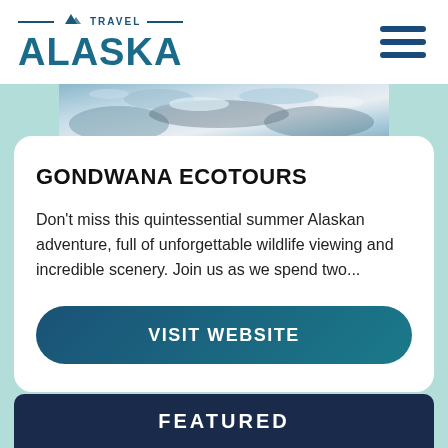[Figure (logo): Travel Alaska logo with mountain icon, 'TRAVEL' text between horizontal lines, and 'ALASKA' in large teal letters]
[Figure (other): Hamburger menu icon with three dark blue horizontal lines]
[Figure (photo): Partial aerial or landscape photo strip showing snowy/icy Alaskan scenery with blue and white tones]
GONDWANA ECOTOURS
Don't miss this quintessential summer Alaskan adventure, full of unforgettable wildlife viewing and incredible scenery. Join us as we spend two...
VISIT WEBSITE
FEATURED